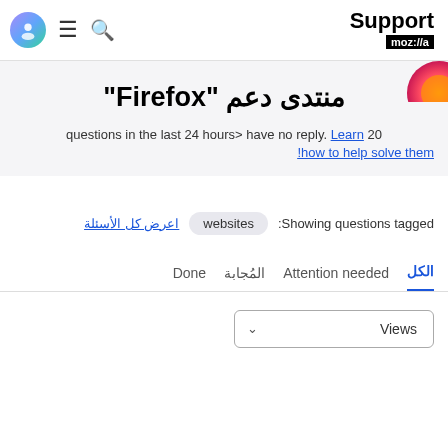Support moz://a
منتدى دعم "Firefox"
questions in the last 24 hours> have no reply. Learn 20 !how to help solve them
Showing questions tagged: websites اعرض كل الأسئلة
الكل  Attention needed  المُجابة  Done
Views